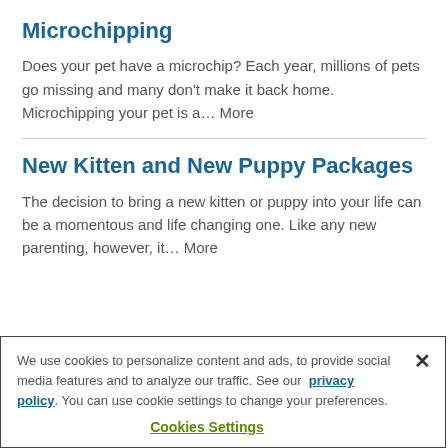Microchipping
Does your pet have a microchip? Each year, millions of pets go missing and many don't make it back home. Microchipping your pet is a… More
New Kitten and New Puppy Packages
The decision to bring a new kitten or puppy into your life can be a momentous and life changing one. Like any new parenting, however, it… More
We use cookies to personalize content and ads, to provide social media features and to analyze our traffic. See our privacy policy. You can use cookie settings to change your preferences.
Cookies Settings